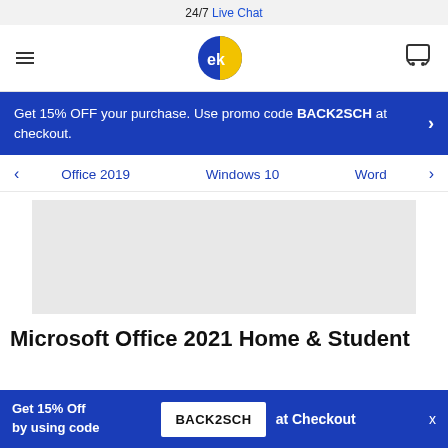24/7 Live Chat
[Figure (logo): EK brand logo — blue and yellow circle icon with stylized 'ek' letters]
Get 15% OFF your purchase. Use promo code BACK2SCH at checkout.
Office 2019   Windows 10   Word
[Figure (photo): Gray placeholder image for product]
Microsoft Office 2021 Home & Student
Get 15% Off by using code BACK2SCH at Checkout